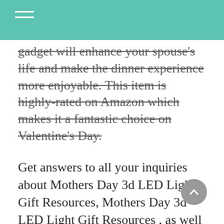gadget will enhance your spouse's life and make the dinner experience more enjoyable. This item is highly-rated on Amazon which makes it a fantastic choice on Valentine's Day.
Get answers to all your inquiries about Mothers Day 3d LED Light Gift Resources, Mothers Day 3d LED Light Gift Resources , as well as Mothers Day 3d LED Light Gift Resources …
Bear in mind … We are right here to help!
For men, perfumes or cologne is a beautiful